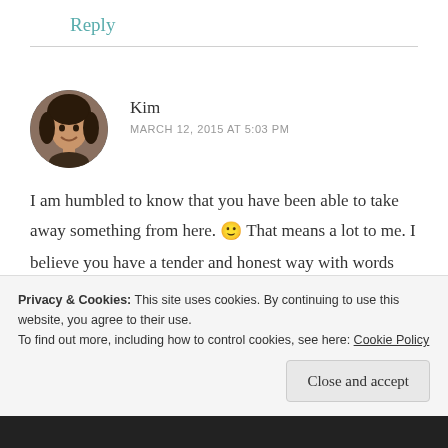Reply
[Figure (photo): Circular avatar photo of commenter Kim, a woman with dark hair, smiling]
Kim
MARCH 12, 2015 AT 5:03 PM
I am humbled to know that you have been able to take away something from here. 🙂 That means a lot to me. I believe you have a tender and honest way with words yourself. Please keep writing as well. ❤
Privacy & Cookies: This site uses cookies. By continuing to use this website, you agree to their use.
To find out more, including how to control cookies, see here: Cookie Policy
Close and accept